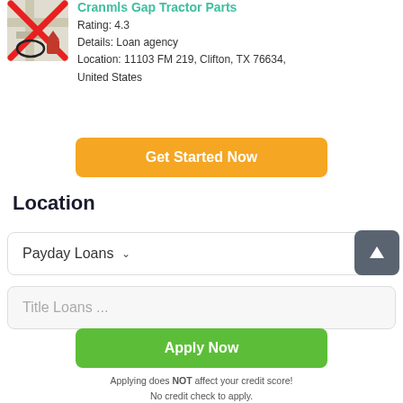[Figure (screenshot): Map thumbnail with red X overlay and circled pin icon]
Cranmls Gap Tractor Parts
Rating: 4.3
Details: Loan agency
Location: 11103 FM 219, Clifton, TX 76634, United States
[Figure (other): Orange 'Get Started Now' button]
Location
[Figure (other): Payday Loans dropdown with upload arrow button]
[Figure (other): Title Loans dropdown field (partially visible)]
[Figure (other): Green 'Apply Now' button]
Applying does NOT affect your credit score!
No credit check to apply.